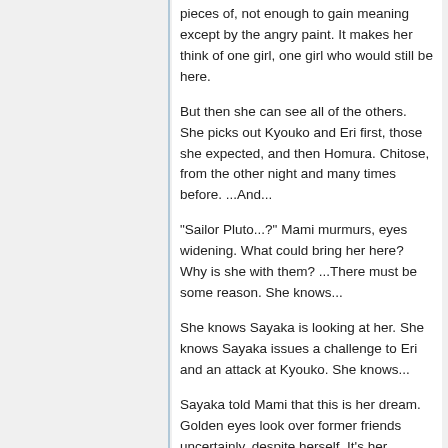pieces of, not enough to gain meaning except by the angry paint. It makes her think of one girl, one girl who would still be here.
But then she can see all of the others. She picks out Kyouko and Eri first, those she expected, and then Homura. Chitose, from the other night and many times before. ...And...
"Sailor Pluto...?" Mami murmurs, eyes widening. What could bring her here? Why is she with them? ...There must be some reason. She knows...
She knows Sayaka is looking at her. She knows Sayaka issues a challenge to Eri and an attack at Kyouko. She knows...
Sayaka told Mami that this is her dream. Golden eyes look over former friends uncertainly, despite herself. It's her...